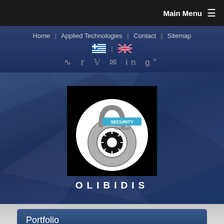Main Menu ☰
Home | Applied Technologies | Contact | Sitemap
[Figure (logo): Greek flag and UK flag icons for language selection]
RSS Twitter Facebook Email LinkedIn Google+
[Figure (logo): Olibidis Security Systems logo: black box with circular padlock icon and text SECURITY SYSTEMS, below reads OLIBIDIS in white spaced letters]
Portfolio